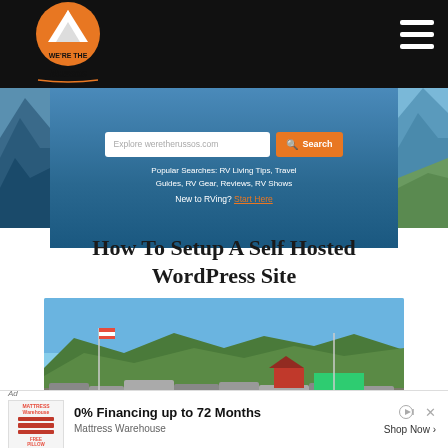We're The Russos — navigation header with logo and hamburger menu
[Figure (screenshot): Website screenshot showing search banner with 'Explore weretherussos.com' input, orange Search button, popular searches text, and Start Here link, with mountain lake background images on sides]
How To Setup A Self Hosted WordPress Site
[Figure (photo): Outdoor photo of an RV show or campground with many RVs parked on a field, American flag, mountains and forest in the background, blue sky]
[Figure (other): Advertisement banner: 0% Financing up to 72 Months — Mattress Warehouse, Shop Now]